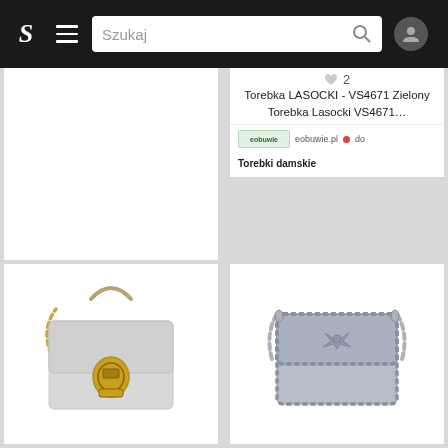[Figure (screenshot): Mobile app navigation bar with logo S, hamburger menu, search field 'Szukaj', and user profile icon on dark background]
[Figure (photo): Torebka LASOCKI - VS4671 Zielony Torebka Lasocki VS4671 - partial product card visible at top]
♥ 2
Torebka LASOCKI - VS4671 Zielony Torebka Lasocki VS4671…
eobuwie.pl • do Torebki damskie
[Figure (photo): Silver metallic Coccinelle Mignon handbag with gold chain strap and D-ring clasp on white background]
♥ 2
Torebka COCCINELLE - E30 Mignon E1 E30 55 01 01 Silver…
eobuwie.pl • do Torebki damskie
[Figure (photo): Gray Pinko Mini Love Twist handbag with silver chain strap and bird logo clasp on white background]
♥ 2
Torebka PINKO - Mini Love Twist 1 AI 19-20 PLTT 1P21E9…
eobuwie.pl • do Torebki damskie